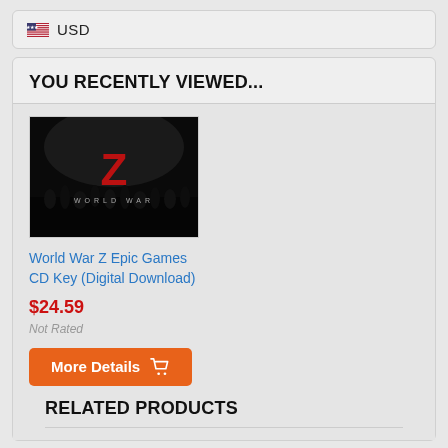🇺🇸 USD
YOU RECENTLY VIEWED...
[Figure (photo): World War Z game cover art showing dark silhouette figures and a large red Z letter]
World War Z Epic Games CD Key (Digital Download)
$24.59
Not Rated
More Details
RELATED PRODUCTS